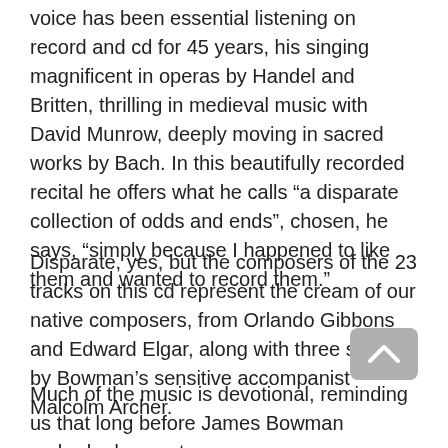voice has been essential listening on record and cd for 45 years, his singing magnificent in operas by Handel and Britten, thrilling in medieval music with David Munrow, deeply moving in sacred works by Bach. In this beautifully recorded recital he offers what he calls “a disparate collection of odds and ends”, chosen, he says, “simply because I happened to like them and wanted to record them.”
Disparate, yes, but the composers of the 23 tracks on this cd represent the cream of our native composers, from Orlando Gibbons and Edward Elgar, along with three songs by Bowman’s sensitive accompanist Malcolm Archer.
Much of the music is devotional, reminding us that long before James Bowman embarked on a starry